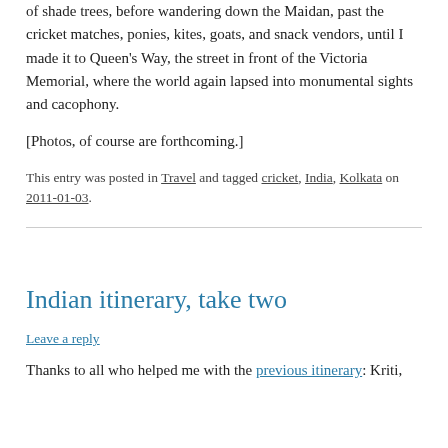of shade trees, before wandering down the Maidan, past the cricket matches, ponies, kites, goats, and snack vendors, until I made it to Queen's Way, the street in front of the Victoria Memorial, where the world again lapsed into monumental sights and cacophony.
[Photos, of course are forthcoming.]
This entry was posted in Travel and tagged cricket, India, Kolkata on 2011-01-03.
Indian itinerary, take two
Leave a reply
Thanks to all who helped me with the previous itinerary: Kriti,